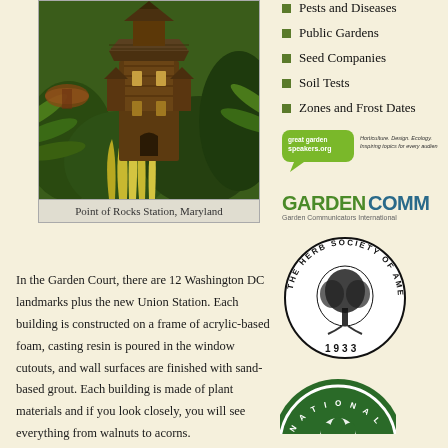[Figure (photo): Decorative miniature building that resembles a Victorian or Gothic-style structure, made of plant materials including walnuts and acorns, surrounded by ferns and ornamental grasses. This is a display at the Garden Court.]
Point of Rocks Station, Maryland
In the Garden Court, there are 12 Washington DC landmarks plus the new Union Station. Each building is constructed on a frame of acrylic-based foam, casting resin is poured in the window cutouts, and wall surfaces are finished with sand-based grout. Each building is made of plant materials and if you look closely, you will see everything from walnuts to acorns.
Pests and Diseases
Public Gardens
Seed Companies
Soil Tests
Zones and Frost Dates
[Figure (logo): great garden speakers .org logo - green speech bubble with text inside, tagline: Horticulture. Design. Ecology. Inspiring topics for every audience.]
[Figure (logo): GARDENCOMM Garden Communicators International logo in green and teal colors]
[Figure (logo): The Herb Society of America circular seal/emblem with tree illustration, founded 1933]
[Figure (logo): National (garden organization) circular logo in green, partially visible at bottom right]